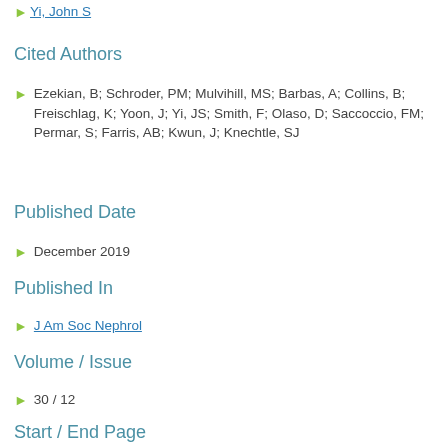Yi, John S
Cited Authors
Ezekian, B; Schroder, PM; Mulvihill, MS; Barbas, A; Collins, B; Freischlag, K; Yoon, J; Yi, JS; Smith, F; Olaso, D; Saccoccio, FM; Permar, S; Farris, AB; Kwun, J; Knechtle, SJ
Published Date
December 2019
Published In
J Am Soc Nephrol
Volume / Issue
30 / 12
Start / End Page
2399 - 2411